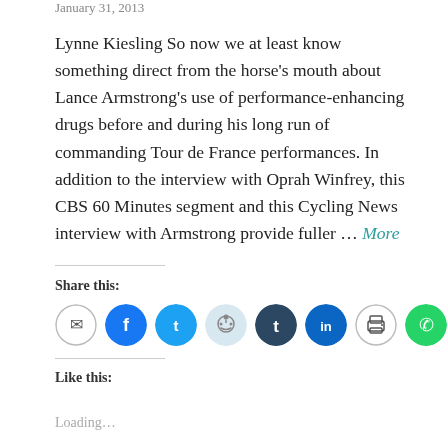January 31, 2013
Lynne Kiesling So now we at least know something direct from the horse’s mouth about Lance Armstrong’s use of performance-enhancing drugs before and during his long run of commanding Tour de France performances. In addition to the interview with Oprah Winfrey, this CBS 60 Minutes segment and this Cycling News interview with Armstrong provide fuller … More
Share this:
[Figure (infographic): Row of social share icon buttons: email (gray outline), Facebook (blue), Twitter (blue), Reddit (light blue/gray), Tumblr (dark navy), LinkedIn (dark blue), Print (gray outline), WhatsApp (green), Skype (blue)]
Like this:
Loading…